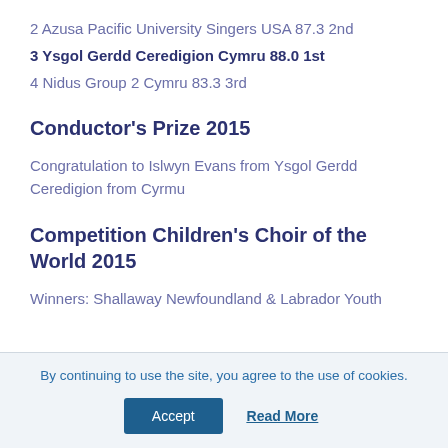2 Azusa Pacific University Singers USA 87.3 2nd
3 Ysgol Gerdd Ceredigion Cymru 88.0 1st
4 Nidus Group 2 Cymru 83.3 3rd
Conductor’s Prize 2015
Congratulation to Islwyn Evans from Ysgol Gerdd Ceredigion from Cyrmu
Competition Children’s Choir of the World 2015
Winners: Shallaway Newfoundland & Labrador Youth
By continuing to use the site, you agree to the use of cookies.
Accept
Read More